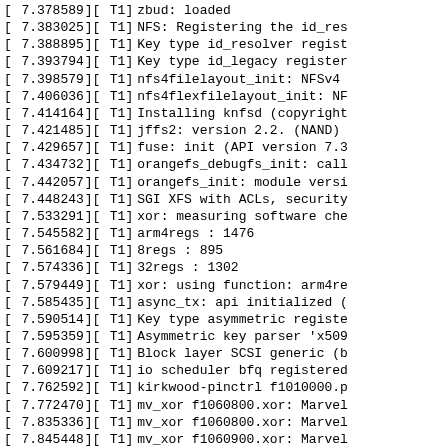[    7.378589][    T1] zbud: loaded
[    7.383025][    T1] NFS: Registering the id_res
[    7.388895][    T1] Key type id_resolver regist
[    7.393794][    T1] Key type id_legacy register
[    7.398579][    T1] nfs4filelayout_init: NFSv4
[    7.406036][    T1] nfs4flexfilelayout_init: NF
[    7.414164][    T1] Installing knfsd (copyright
[    7.421485][    T1] jffs2: version 2.2. (NAND)
[    7.429657][    T1] fuse: init (API version 7.3
[    7.434732][    T1] orangefs_debugfs_init: call
[    7.442057][    T1] orangefs_init: module versi
[    7.448243][    T1] SGI XFS with ACLs, security
[    7.533291][    T1] xor: measuring software che
[    7.545582][    T1]     arm4regs           :  1476
[    7.561684][    T1]     8regs              :   895
[    7.574336][    T1]     32regs             :  1302
[    7.579449][    T1] xor: using function: arm4re
[    7.585435][    T1] async_tx: api initialized (
[    7.590514][    T1] Key type asymmetric registe
[    7.595359][    T1] Asymmetric key parser 'x509
[    7.600998][    T1] Block layer SCSI generic (b
[    7.609217][    T1] io scheduler bfq registered
[    7.762592][    T1] kirkwood-pinctrl f1010000.p
[    7.772470][    T1] mv_xor f1060800.xor: Marvel
[    7.835336][    T1] mv_xor f1060800.xor: Marvel
[    7.845448][    T1] mv_xor f1060900.xor: Marvel
[    7.905334][    T1] mv_xor f1060900.xor: Marvel
[    7.915603][    T1] Serial: 8250/16550 driver,
[    7.923813][    T1] printk: console [ttyS0] dis
[    7.928947][    T1] f1012000.serial: ttyS0 at M
[    7.935...][    T1] ...